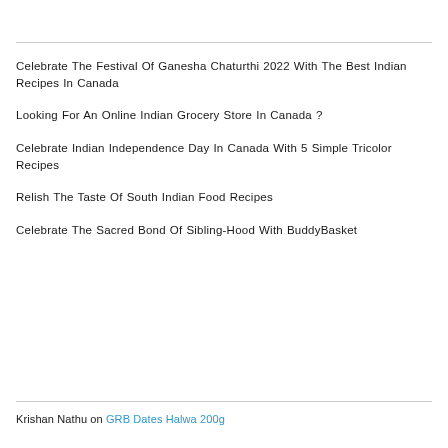Celebrate The Festival Of Ganesha Chaturthi 2022 With The Best Indian Recipes In Canada
Looking For An Online Indian Grocery Store In Canada ?
Celebrate Indian Independence Day In Canada With 5 Simple Tricolor Recipes
Relish The Taste Of South Indian Food Recipes
Celebrate The Sacred Bond Of Sibling-Hood With BuddyBasket
Krishan Nathu on GRB Dates Halwa 200g